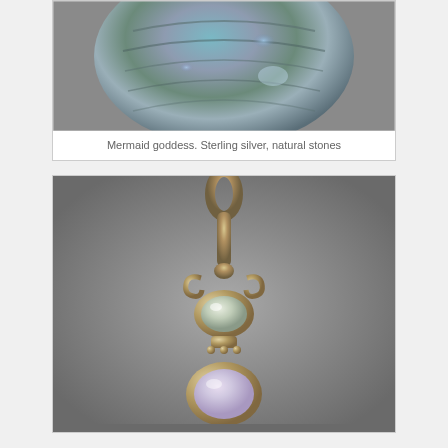[Figure (photo): Close-up photo of a mermaid goddess jewelry piece. Sterling silver piece with abalone/natural stones showing iridescent blue and green colors, partially cropped at top.]
Mermaid goddess. Sterling silver, natural stones
[Figure (photo): Photo of a silver pendant with decorative scrollwork bail, featuring two cabochon stones — a pale green/gray oval stone on top and a pale lavender/pink round stone below, set in ornate sterling silver against a gray background.]